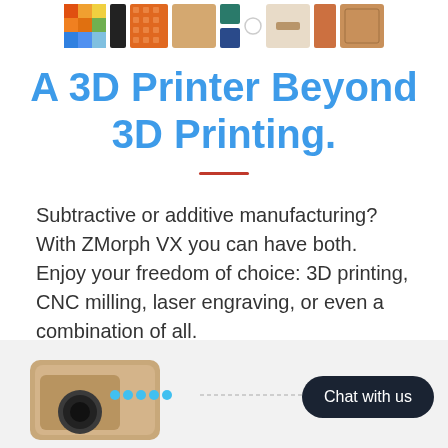[Figure (illustration): Row of thumbnail images of various 3D printed and manufactured objects including heat map, black cylinder, orange grid, wooden tiles, teal and blue squares, circle, beige tile, and laser-engraved wood pieces]
A 3D Printer Beyond 3D Printing.
Subtractive or additive manufacturing? With ZMorph VX you can have both. Enjoy your freedom of choice: 3D printing, CNC milling, laser engraving, or even a combination of all.
[Figure (photo): Bottom section showing a ZMorph VX 3D printer in gold/bronze color with blue LED lights, partially visible, with a dashed annotation line labeled '3D printer' and a dark 'Chat with us' button overlay]